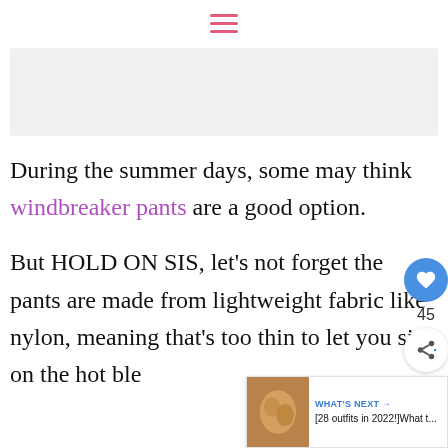≡ (hamburger menu icon)
[Figure (other): Light gray banner/advertisement placeholder area]
During the summer days, some may think windbreaker pants are a good option.
But HOLD ON SIS, let's not forget the pants are made from lightweight fabric like nylon, meaning that's too thin to let you sit on the hot ble... for HOURS.